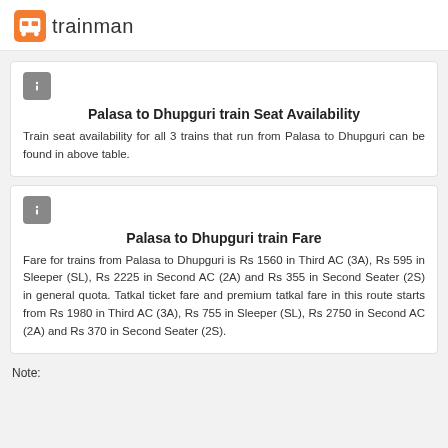trainman
Palasa to Dhupguri train Seat Availability
Train seat availability for all 3 trains that run from Palasa to Dhupguri can be found in above table.
Palasa to Dhupguri train Fare
Fare for trains from Palasa to Dhupguri is Rs 1560 in Third AC (3A), Rs 595 in Sleeper (SL), Rs 2225 in Second AC (2A) and Rs 355 in Second Seater (2S) in general quota. Tatkal ticket fare and premium tatkal fare in this route starts from Rs 1980 in Third AC (3A), Rs 755 in Sleeper (SL), Rs 2750 in Second AC (2A) and Rs 370 in Second Seater (2S).
Note: